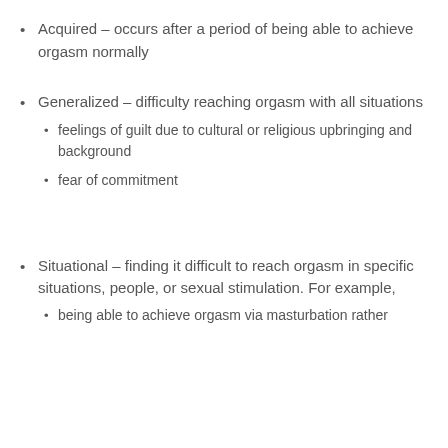Acquired – occurs after a period of being able to achieve orgasm normally
Generalized – difficulty reaching orgasm with all situations
feelings of guilt due to cultural or religious upbringing and background
fear of commitment
Situational – finding it difficult to reach orgasm in specific situations, people, or sexual stimulation. For example,
being able to achieve orgasm via masturbation rather